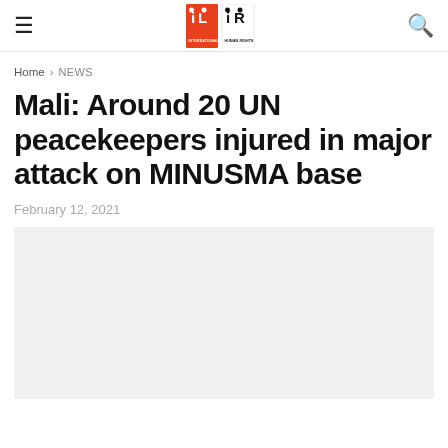≡  [Logo: International Limits / Human Rights]  🔍
Home > NEWS
Mali: Around 20 UN peacekeepers injured in major attack on MINUSMA base
February 12, 2021
[Figure (photo): Gray placeholder image area below the article date]